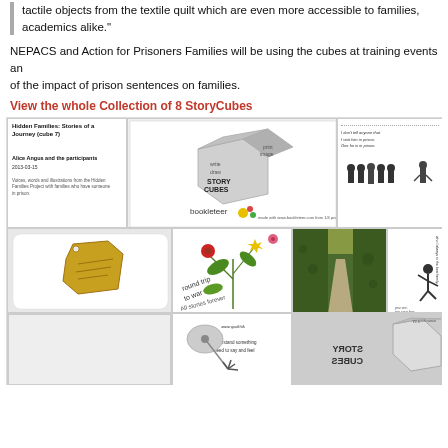tactile objects from the textile quilt which are even more accessible to families, academics alike."
NEPACS and Action for Prisoners Families will be using the cubes at training events and of the impact of prison sentences on families.
View the whole Collection of 8 StoryCubes
[Figure (illustration): Story Cubes booklet layout showing multiple faces of a cube with illustrations, text, a tag, flowers, a path photo, and a STORY CUBES logo. Hidden Families: Stories of a Journey (cube 7) by Alice Angus and the participants, 2013-03-15.]